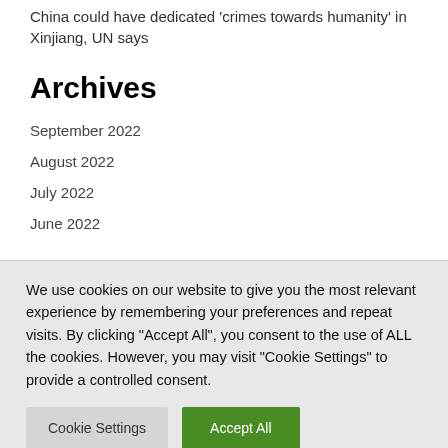China could have dedicated 'crimes towards humanity' in Xinjiang, UN says
Archives
September 2022
August 2022
July 2022
June 2022
We use cookies on our website to give you the most relevant experience by remembering your preferences and repeat visits. By clicking "Accept All", you consent to the use of ALL the cookies. However, you may visit "Cookie Settings" to provide a controlled consent.
Cookie Settings
Accept All